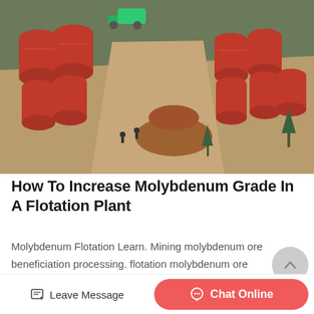[Figure (photo): Aerial view of a large mining/flotation plant site with multiple large red cylindrical industrial machines (ball mills or flotation cells) arranged in rows on an open earthen hillside, with workers visible.]
How To Increase Molybdenum Grade In A Flotation Plant
Molybdenum Flotation Learn. Mining molybdenum ore beneficiation processing. flotation molybdenum ore beneficiation plant magnetic the molybdenum ore is a leaden color metallic lust...